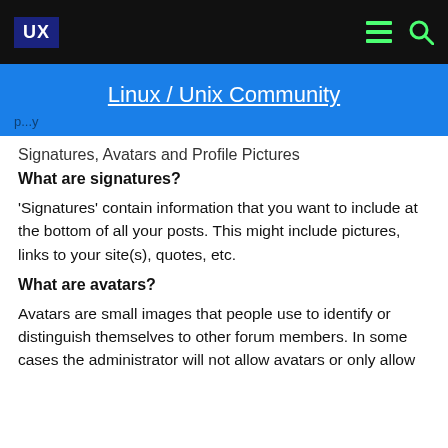UX  ☰  🔍
Linux / Unix Community
p...y
Signatures, Avatars and Profile Pictures
What are signatures?
'Signatures' contain information that you want to include at the bottom of all your posts. This might include pictures, links to your site(s), quotes, etc.
What are avatars?
Avatars are small images that people use to identify or distinguish themselves to other forum members. In some cases the administrator will not allow avatars or only allow